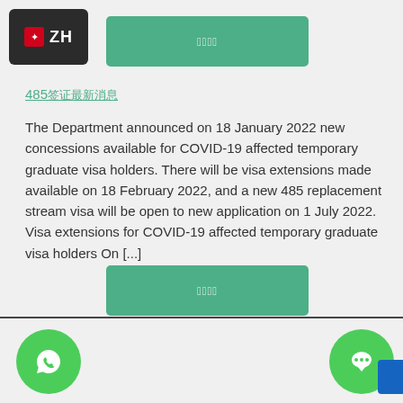[Figure (logo): Dark rounded rectangle with Swiss flag icon and ZH text in white]
[Figure (other): Green button with placeholder Chinese characters at top]
485签证最新消息 (link heading)
The Department announced on 18 January 2022 new concessions available for COVID-19 affected temporary graduate visa holders. There will be visa extensions made available on 18 February 2022, and a new 485 replacement stream visa will be open to new application on 1 July 2022. Visa extensions for COVID-19 affected temporary graduate visa holders On [...]
[Figure (other): Green button with placeholder Chinese characters at bottom]
[Figure (other): WhatsApp green circle button at bottom left]
[Figure (other): Chat green circle button at bottom right with blue tab]